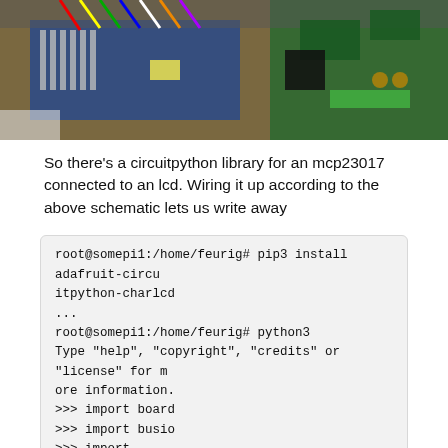[Figure (photo): Photo of electronics hardware including a Raspberry Pi, Arduino, breadboard wires, and circuit components on a white surface]
So there's a circuitpython library for an mcp23017 connected to an lcd. Wiring it up according to the above schematic lets us write away
root@somepi1:/home/feurig# pip3 install adafruit-circuitpython-charlcd
...
root@somepi1:/home/feurig# python3
Type "help", "copyright", "credits" or "license" for more information.
>>> import board
>>> import busio
>>> import adafruit_character_lcd.character_lcd_rgb_i2c as character_lcd
>>> lcd_columns = 24
>>> lcd_rows = 2
>>> i2c = busio.I2C(board.SCL, board.SDA)
>>> lcd = character_lcd.Character_LCD_RGB_I2C(i2c, lcd_columns, lcd_rows)
>>> lcd.message = "Hello\nPiTerm1986"
>>> lcd.clear()